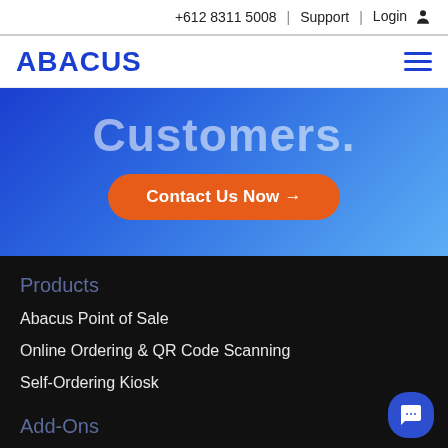+612 8311 5008 | Support | Login
[Figure (logo): ABACUS logo in bold blue text with hamburger menu icon]
Customers.
Contact Us Now →
Products
Abacus Point of Sale
Online Ordering & QR Code Scanning
Self-Ordering Kiosk
Add-Ons
Customer Facing Display